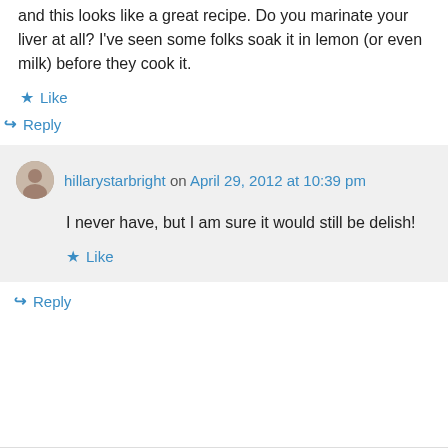and this looks like a great recipe. Do you marinate your liver at all? I've seen some folks soak it in lemon (or even milk) before they cook it.
★ Like
↪ Reply
hillarystarbright on April 29, 2012 at 10:39 pm
I never have, but I am sure it would still be delish!
★ Like
↪ Reply